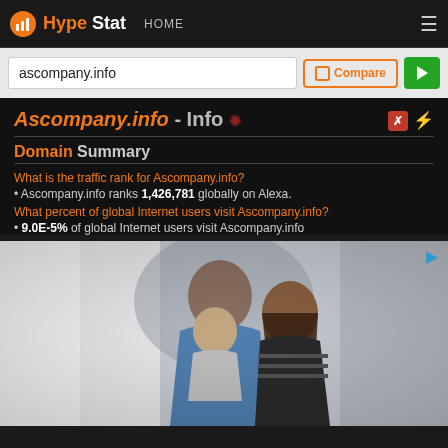HypeStat HOME
ascompany.info
Ascompany.info - Info
Domain Summary
What is the traffic rank for Ascompany.info?
Ascompany.info ranks 1,426,781 globally on Alexa.
What percent of global Internet users visit Ascompany.info?
9.0E-5% of global Internet users visit Ascompany.info
[Figure (photo): Advertisement photo showing a family (man, woman, and baby) in a warm embrace]